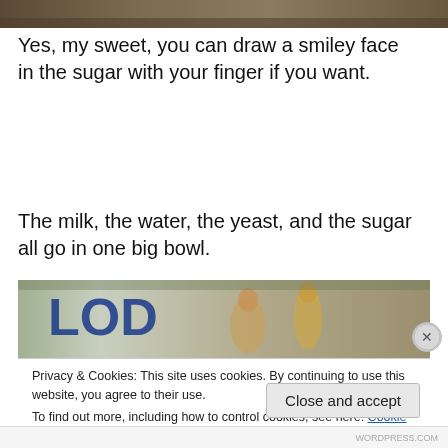[Figure (photo): Top portion of a photo showing a brownish surface, cropped view from a webpage.]
Yes, my sweet, you can draw a smiley face in the sugar with your finger if you want.
The milk, the water, the yeast, and the sugar all go in one big bowl.
[Figure (photo): Partial photo showing figurines and text 'LOD' on fabric background.]
Privacy & Cookies: This site uses cookies. By continuing to use this website, you agree to their use.
To find out more, including how to control cookies, see here: Cookie Policy
Close and accept